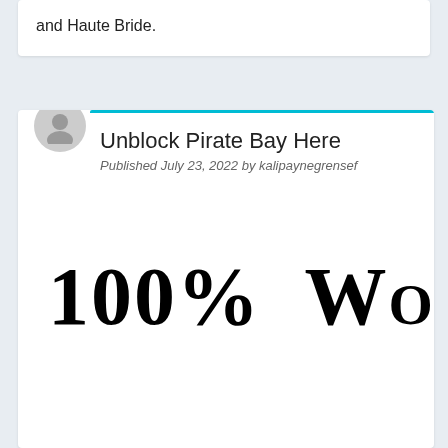and Haute Bride.
Unblock Pirate Bay Here
Published July 23, 2022 by kalipaynegrensef
[Figure (other): Large blackletter/gothic style text reading '100% Working B' (text continues off-page to the right)]